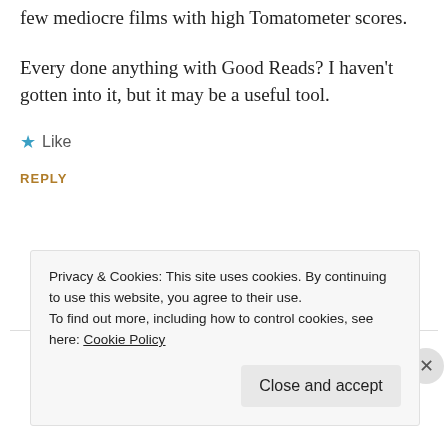few mediocre films with high Tomatometer scores.
Every done anything with Good Reads? I haven't gotten into it, but it may be a useful tool.
★ Like
REPLY
[Figure (screenshot): Video player thumbnail showing 'Up Next' panel with 'The Making' and 'The Making of Boris Johnson' entries on dark background]
Privacy & Cookies: This site uses cookies. By continuing to use this website, you agree to their use.
To find out more, including how to control cookies, see here: Cookie Policy
Close and accept